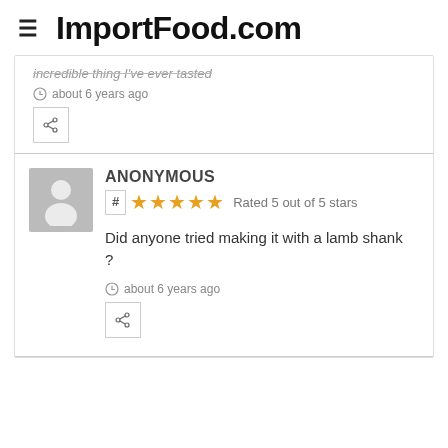ImportFood.com
incredible thing I've ever tasted
about 6 years ago
ANONYMOUS
Rated 5 out of 5 stars
Did anyone tried making it with a lamb shank ?
about 6 years ago